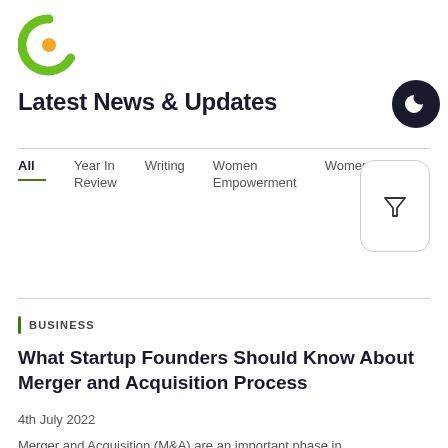[Figure (logo): Green and orange C-shaped logo]
Latest News & Updates
All
Year In Review
Writing
Women Empowerment
Women
BUSINESS
What Startup Founders Should Know About Merger and Acquisition Process
4th July 2022
Merger and Acquisition (M&A) are an important phase in